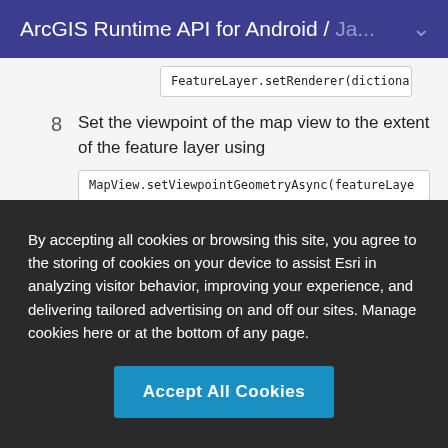ArcGIS Runtime API for Android / Ja...
FeatureLayer.setRenderer(dictionaryRenderer).
8  Set the viewpoint of the map view to the extent of the feature layer using MapView.setViewpointGeometryAsync(featureLayer.getFullExtent()).
By accepting all cookies or browsing this site, you agree to the storing of cookies on your device to assist Esri in analyzing visitor behavior, improving your experience, and delivering tailored advertising on and off our sites. Manage cookies here or at the bottom of any page.
Accept All Cookies